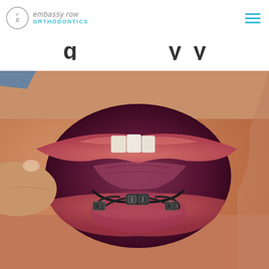Embassy Row Orthodontics
(...partial heading visible...)
[Figure (photo): Close-up clinical photograph of an open mouth showing a palatal expander orthodontic appliance attached to the upper teeth, with a hand/finger retracting the lip. The metal expander device is clearly visible against the palate.]